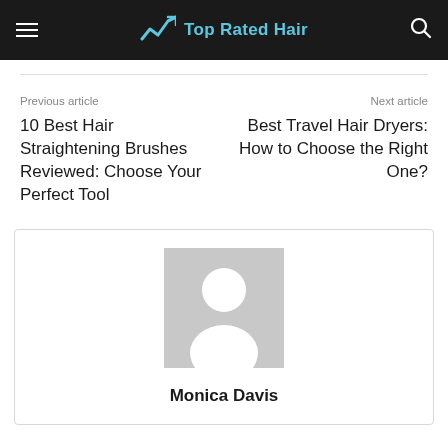Top Rated Hair
Previous article
10 Best Hair Straightening Brushes Reviewed: Choose Your Perfect Tool
Next article
Best Travel Hair Dryers: How to Choose the Right One?
[Figure (photo): Default user avatar placeholder — grey background with white silhouette of a person]
Monica Davis